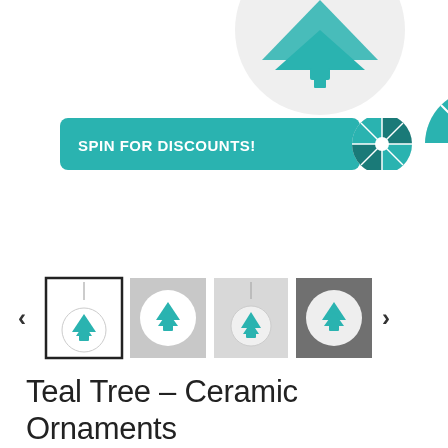[Figure (illustration): Partial view of a spinning discount wheel (teal/dark segments, white center dot) and ornament at top of page]
[Figure (infographic): Teal 'SPIN FOR DISCOUNTS!' banner button with a spinning wheel icon on the right side]
[Figure (photo): Product image gallery showing 4 thumbnails of ceramic Christmas tree ornaments in teal: first selected (white bg, hanging ornament), second (round ceramic on gray bg), third (hanging ornament gray bg), fourth (round ceramic on dark bg). Left and right navigation arrows.]
Teal Tree – Ceramic Ornaments
$11.99
Shipping calculated at checkout.
Shape
Size